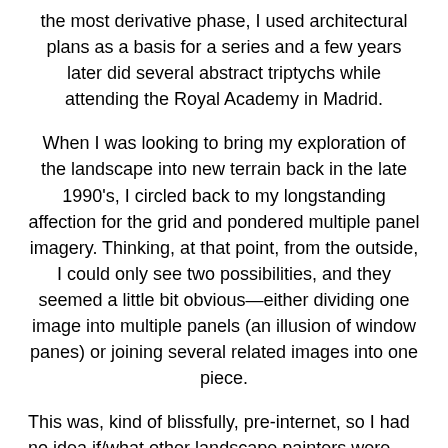the most derivative phase, I used architectural plans as a basis for a series and a few years later did several abstract triptychs while attending the Royal Academy in Madrid.
When I was looking to bring my exploration of the landscape into new terrain back in the late 1990's, I circled back to my longstanding affection for the grid and pondered multiple panel imagery. Thinking, at that point, from the outside, I could only see two possibilities, and they seemed a little bit obvious—either dividing one image into multiple panels (an illusion of window panes) or joining several related images into one piece.
This was, kind of blissfully, pre-internet, so I had no idea if/what other landscape painters were doing in this arena. I decided just to jump in and see what evolved. (I still tend